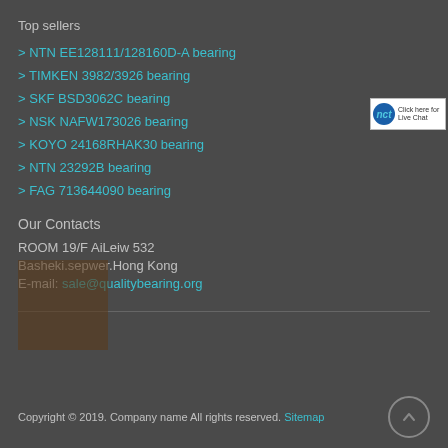Top sellers
NTN EE128111/128160D-A bearing
TIMKEN 3982/3926 bearing
SKF BSD3062C bearing
NSK NAFW173026 bearing
KOYO 24168RHAK30 bearing
NTN 23292B bearing
FAG 713644090 bearing
Our Contacts
ROOM 19/F AiLeiw 532
Basheki.sepwer.Hong Kong
E-mail: sale@qualitybearing.org
Copyright © 2019. Company name All rights reserved. Sitemap